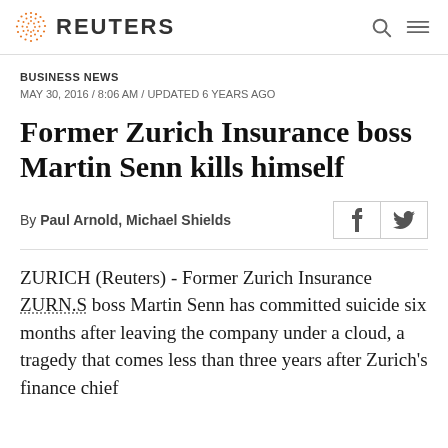REUTERS
BUSINESS NEWS
MAY 30, 2016 / 8:06 AM / UPDATED 6 YEARS AGO
Former Zurich Insurance boss Martin Senn kills himself
By Paul Arnold, Michael Shields
ZURICH (Reuters) - Former Zurich Insurance ZURN.S boss Martin Senn has committed suicide six months after leaving the company under a cloud, a tragedy that comes less than three years after Zurich's finance chief